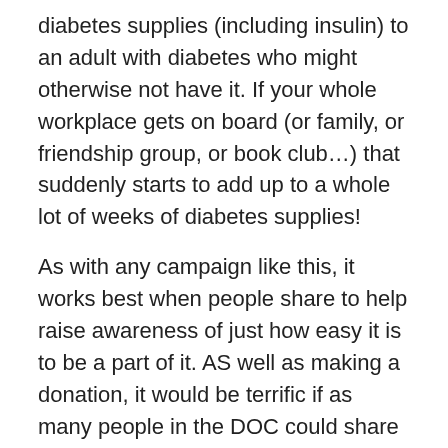diabetes supplies (including insulin) to an adult with diabetes who might otherwise not have it. If your whole workplace gets on board (or family, or friendship group, or book club…) that suddenly starts to add up to a whole lot of weeks of diabetes supplies!
As with any campaign like this, it works best when people share to help raise awareness of just how easy it is to be a part of it. AS well as making a donation, it would be terrific if as many people in the DOC could share details of the #IFLSecretSanta drive and encourage friends and family to donate.
I promise that no one is going to miss not getting a bath bomb. But people with diabetes, unable to access or afford essential diabetes meds and supplies, will be grateful if the money for that bath bomb was redirected to the charity